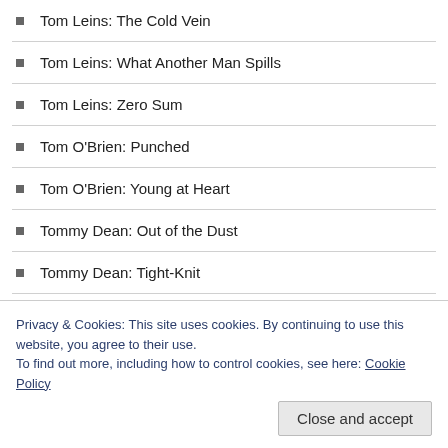Tom Leins: The Cold Vein
Tom Leins: What Another Man Spills
Tom Leins: Zero Sum
Tom O'Brien: Punched
Tom O'Brien: Young at Heart
Tommy Dean: Out of the Dust
Tommy Dean: Tight-Knit
Tony Press: For Sure
Tony Press: Just Like That
Tony Press: Teacher on the Road
Traci Mullins: You See Nothing
Privacy & Cookies: This site uses cookies. By continuing to use this website, you agree to their use. To find out more, including how to control cookies, see here: Cookie Policy
Close and accept